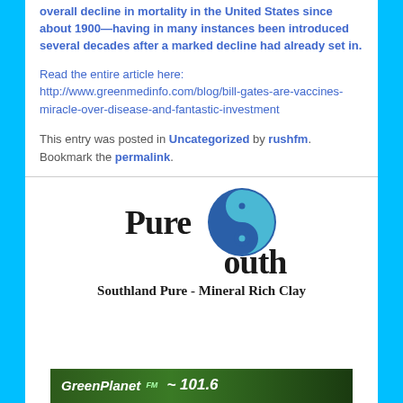overall decline in mortality in the United States since about 1900—having in many instances been introduced several decades after a marked decline had already set in.
Read the entire article here: http://www.greenmedinfo.com/blog/bill-gates-are-vaccines-miracle-over-disease-and-fantastic-investment
This entry was posted in Uncategorized by rushfm. Bookmark the permalink.
[Figure (logo): Pure South logo with a blue yin-yang style circular icon and text 'Pure South' and tagline 'Southland Pure - Mineral Rich Clay']
[Figure (screenshot): GreenPlanet FM 101.6 banner/bar at the bottom of the page]